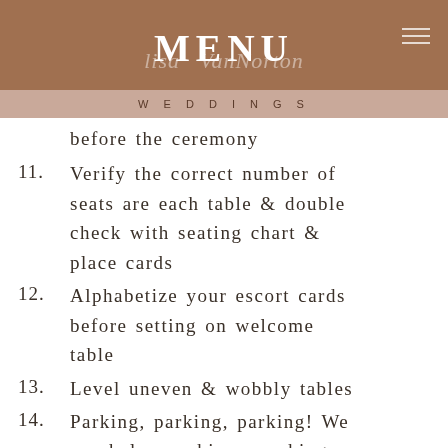MENU
Lisa VanNorton
WEDDINGS
before the ceremony
11.  Verify the correct number of seats are each table & double check with seating chart & place cards
12.  Alphabetize your escort cards before setting on welcome table
13.  Level uneven & wobbly tables
14.  Parking, parking, parking! We can help you hire a parking